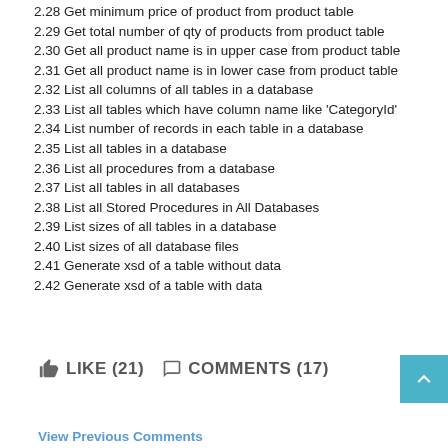2.28 Get minimum price of product from product table
2.29 Get total number of qty of products from product table
2.30 Get all product name is in upper case from product table
2.31 Get all product name is in lower case from product table
2.32 List all columns of all tables in a database
2.33 List all tables which have column name like 'CategoryId'
2.34 List number of records in each table in a database
2.35 List all tables in a database
2.36 List all procedures from a database
2.37 List all tables in all databases
2.38 List all Stored Procedures in All Databases
2.39 List sizes of all tables in a database
2.40 List sizes of all database files
2.41 Generate xsd of a table without data
2.42 Generate xsd of a table with data
LIKE (21)  COMMENTS (17)
View Previous Comments